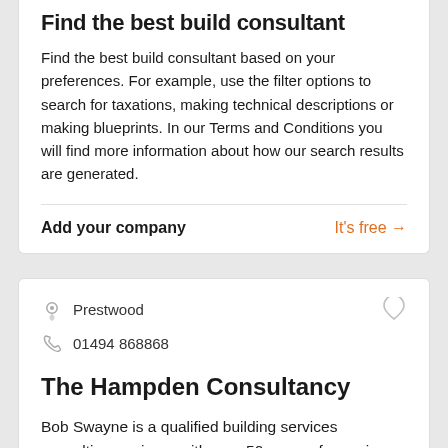Find the best build consultant
Find the best build consultant based on your preferences. For example, use the filter options to search for taxations, making technical descriptions or making blueprints. In our Terms and Conditions you will find more information about how our search results are generated.
Add your company   It's free →
Prestwood
01494 868868
The Hampden Consultancy
Bob Swayne is a qualified building services consulting engineer with over 50 years of experience in the design, construction and maintenance of building enginee